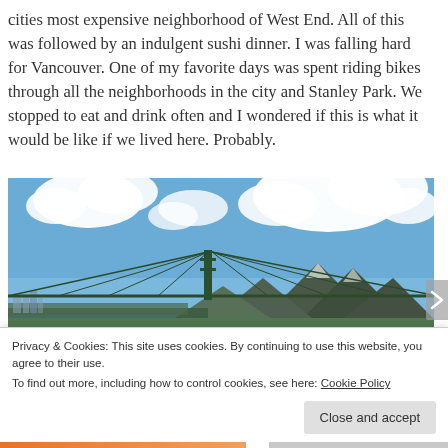cities most expensive neighborhood of West End. All of this was followed by an indulgent sushi dinner. I was falling hard for Vancouver. One of my favorite days was spent riding bikes through all the neighborhoods in the city and Stanley Park. We stopped to eat and drink often and I wondered if this is what it would be like if we lived here. Probably.
[Figure (photo): Photograph of Lions Gate Bridge in Vancouver with mountains in the background, blue sky with large white clouds, waterfront view, two people visible in foreground]
Privacy & Cookies: This site uses cookies. By continuing to use this website, you agree to their use.
To find out more, including how to control cookies, see here: Cookie Policy